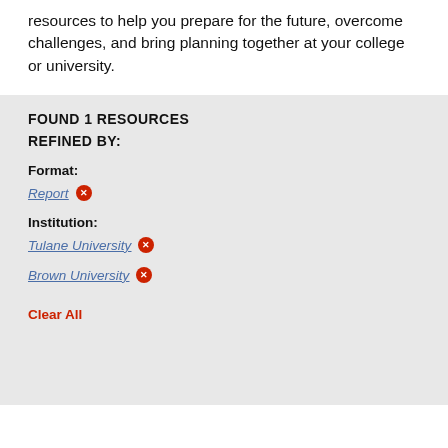resources to help you prepare for the future, overcome challenges, and bring planning together at your college or university.
FOUND 1 RESOURCES
REFINED BY:
Format:
Report ×
Institution:
Tulane University ×
Brown University ×
Clear All